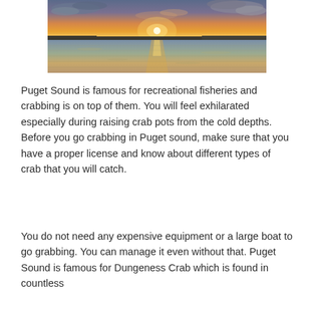[Figure (photo): Sunset over Puget Sound water, with orange and golden sky reflecting on the calm water surface, distant shoreline silhouette, clouds in the sky.]
Puget Sound is famous for recreational fisheries and crabbing is on top of them. You will feel exhilarated especially during raising crab pots from the cold depths. Before you go crabbing in Puget sound, make sure that you have a proper license and know about different types of crab that you will catch.
You do not need any expensive equipment or a large boat to go grabbing. You can manage it even without that. Puget Sound is famous for Dungeness Crab which is found in countless